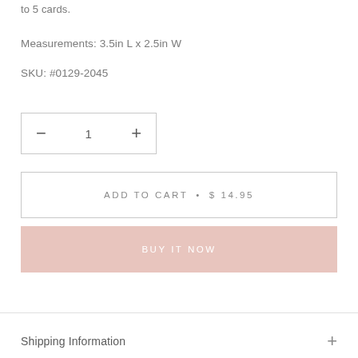to 5 cards.
Measurements: 3.5in L x 2.5in W
SKU: #0129-2045
− 1 +
ADD TO CART • $ 14.95
BUY IT NOW
Shipping Information